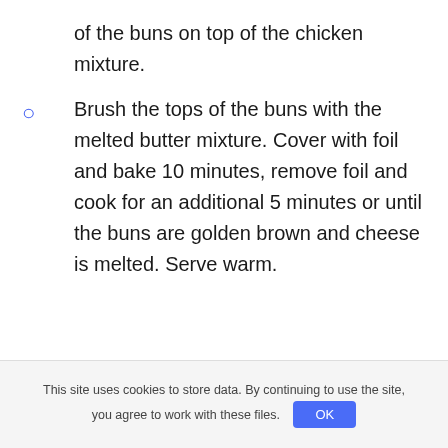of the buns on top of the chicken mixture.
Brush the tops of the buns with the melted butter mixture. Cover with foil and bake 10 minutes, remove foil and cook for an additional 5 minutes or until the buns are golden brown and cheese is melted. Serve warm.
This site uses cookies to store data. By continuing to use the site, you agree to work with these files.